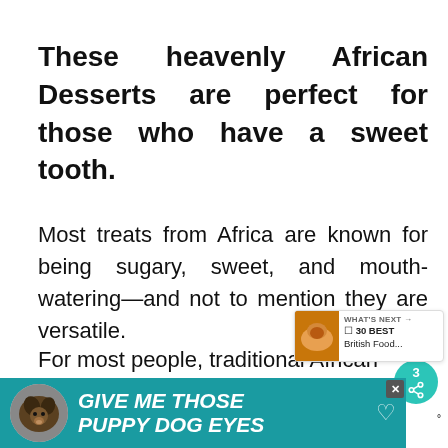These heavenly African Desserts are perfect for those who have a sweet tooth.
Most treats from Africa are known for being sugary, sweet, and mouth-watering—and not to mention they are versatile.
For most people, traditional African d...
[Figure (screenshot): Social share sidebar with heart icon and share button showing count of 3]
[Figure (screenshot): What's Next widget showing '30 BEST British Food...' with food thumbnail]
[Figure (screenshot): Advertisement banner: GIVE ME THOSE PUPPY DOG EYES with dog image on teal background]